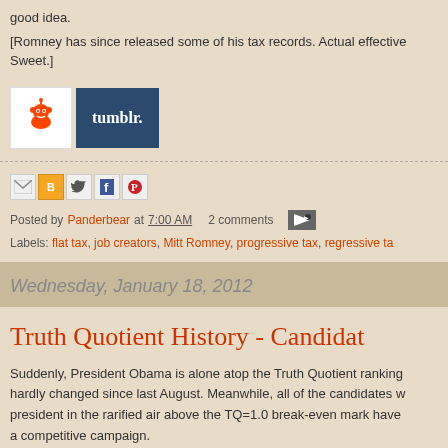good idea.
[Romney has since released some of his tax records. Actual effective Sweet.]
[Figure (other): Reddit and Tumblr social sharing buttons]
Social sharing icons: email, blogger, twitter, facebook, pinterest
Posted by Panderbear at 7:00 AM   2 comments
Labels: flat tax, job creators, Mitt Romney, progressive tax, regressive ta
Wednesday, January 18, 2012
Truth Quotient History - Candidat
Suddenly, President Obama is alone atop the Truth Quotient ranking hardly changed since last August. Meanwhile, all of the candidates w president in the rarified air above the TQ=1.0 break-even mark have a competitive campaign.